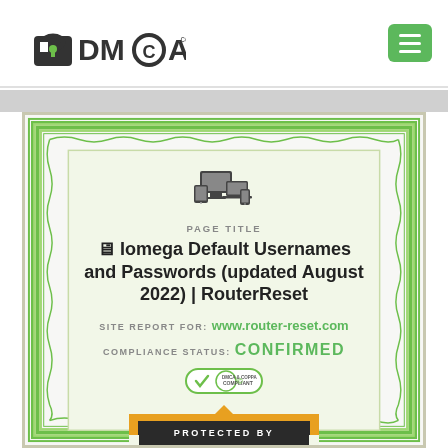[Figure (logo): DMCA.com logo with padlock icon]
[Figure (other): Hamburger menu button (green rounded rectangle with three white lines)]
[Figure (other): Certificate with green guilloche border containing DMCA compliance information]
PAGE TITLE
🖥 Iomega Default Usernames and Passwords (updated August 2022) | RouterReset
SITE REPORT FOR: www.router-reset.com
COMPLIANCE STATUS: Confirmed
[Figure (other): DMCA Compliant badge/shield icon]
PROTECTED BY